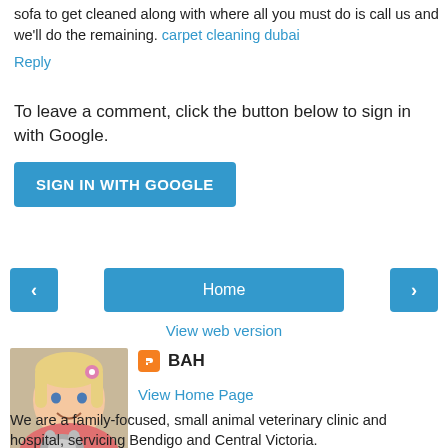sofa to get cleaned along with where all you must do is call us and we'll do the remaining. carpet cleaning dubai
Reply
To leave a comment, click the button below to sign in with Google.
SIGN IN WITH GOOGLE
Home
View web version
[Figure (photo): Profile photo of a young blonde girl smiling, holding a small animal]
BAH
View Home Page
We are a family-focused, small animal veterinary clinic and hospital, servicing Bendigo and Central Victoria.